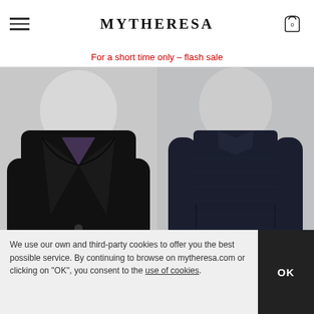MYTHERESA
For a short time only – flash sale
[Figure (photo): Black fur coat by Yves Salomon on white/grey mannequin background]
YVES SALOMON
€ 499
[Figure (photo): Navy long-sleeve fitted dress/coat by Sportmax on white/grey mannequin background]
SPORTMAX
€ 1,135
NEW ARRIVAL
NEW ARRIVAL
We use our own and third-party cookies to offer you the best possible service. By continuing to browse on mytheresa.com or clicking on "OK", you consent to the use of cookies.